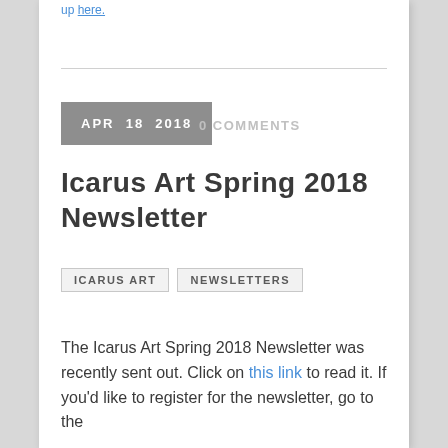up here.
APR  18  2018
0 COMMENTS
Icarus Art Spring 2018 Newsletter
ICARUS ART
NEWSLETTERS
The Icarus Art Spring 2018 Newsletter was recently sent out. Click on this link to read it. If you'd like to register for the newsletter, go to the